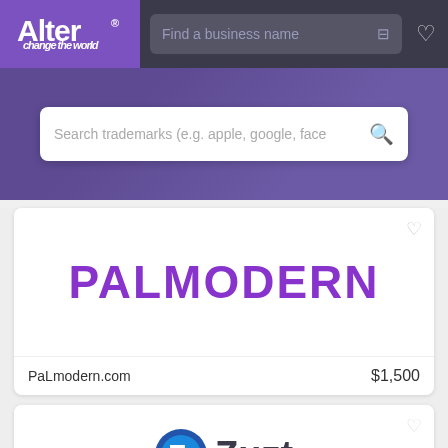[Figure (screenshot): Alter business name marketplace navigation bar with purple logo, search bar, filter icon, and heart icon]
Search trademarks (e.g. apple, google, face
PALMODERN
PaLmodern.com
$1,500
[Figure (logo): Zuzt logo with circular blue and dark Z icon and dark text]